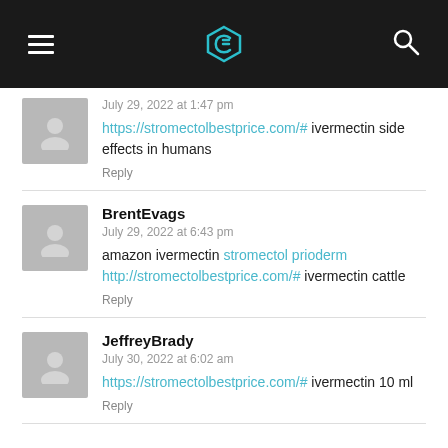Navigation bar with hamburger menu, logo, and search icon
July 29, 2022 at 1:47 pm
https://stromectolbestprice.com/# ivermectin side effects in humans
Reply
BrentEvags
July 29, 2022 at 6:43 pm
amazon ivermectin stromectol prioderm http://stromectolbestprice.com/# ivermectin cattle
Reply
JeffreyBrady
July 30, 2022 at 6:02 am
https://stromectolbestprice.com/# ivermectin 10 ml
Reply